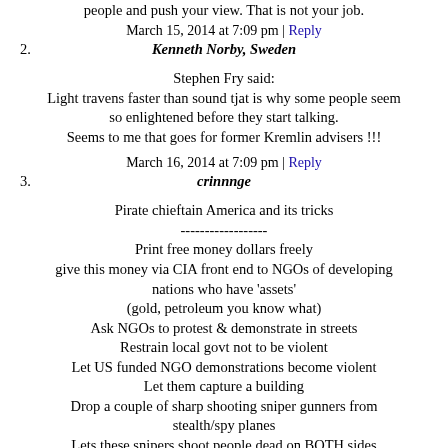people and push your view. That is not your job.
March 15, 2014 at 7:09 pm | Reply
2. Kenneth Norby, Sweden
Stephen Fry said:
Light travens faster than sound tjat is why some people seem so enlightened before they start talking.
Seems to me that goes for former Kremlin advisers !!!
March 16, 2014 at 7:09 pm | Reply
3. crinnnge
Pirate chieftain America and its tricks
------------------
Print free money dollars freely
give this money via CIA front end to NGOs of developing nations who have 'assets'
(gold, petroleum you know what)
Ask NGOs to protest & demonstrate in streets
Restrain local govt not to be violent
Let US funded NGO demonstrations become violent
Let them capture a building
Drop a couple of sharp shooting sniper gunners from stealth/spy planes
Lets these snipers shoot people dead on BOTH sides